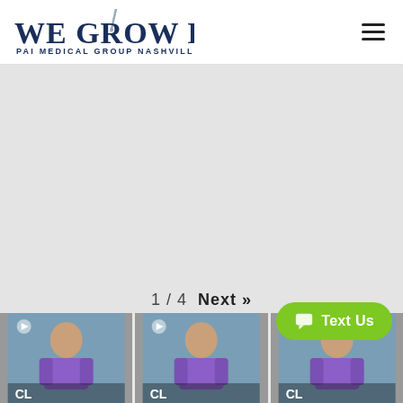[Figure (logo): We Grow Hair - PAI Medical Group Nashville logo with a needle/pen graphic above the 'R' in GROW]
[Figure (other): Hamburger menu icon (three horizontal lines) in top right corner]
[Figure (other): Large light gray blank/empty video player area]
1 / 4  Next »
[Figure (photo): Thumbnail 1: A woman in a purple jacket sitting, with 'CL' text overlay at bottom, blue background]
[Figure (photo): Thumbnail 2: A woman in a purple jacket sitting, with 'CL' text overlay at bottom, blue background]
[Figure (photo): Thumbnail 3: A woman in a purple jacket, partially visible, with 'CL' text overlay at bottom, blue background]
[Figure (other): Green 'Text Us' button with chat bubble icon in the bottom right]